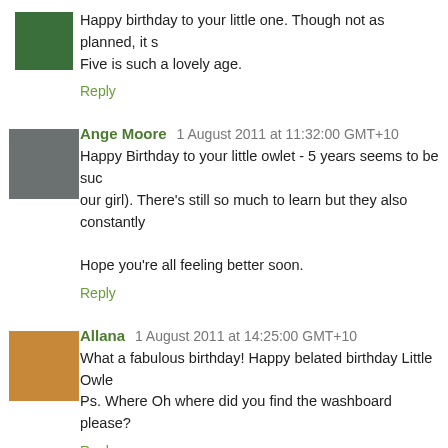Happy birthday to your little one. Though not as planned, it s… Five is such a lovely age.
Reply
Ange Moore 1 August 2011 at 11:32:00 GMT+10
Happy Birthday to your little owlet - 5 years seems to be suc… our girl). There's still so much to learn but they also constantly…
Hope you're all feeling better soon.
Reply
Allana 1 August 2011 at 14:25:00 GMT+10
What a fabulous birthday! Happy belated birthday Little Owle… Ps. Where Oh where did you find the washboard please?
Reply
To leave a comment, click the button below to sign in w…
SIGN IN WITH GOOGLE